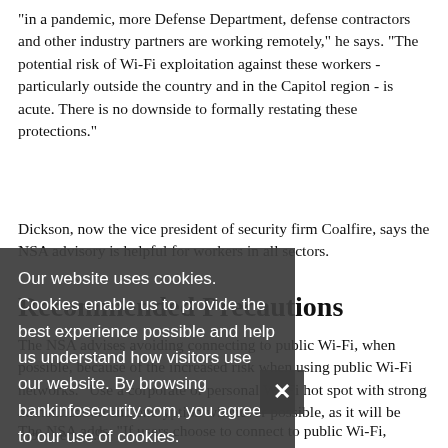"in a pandemic, more Defense Department, defense contractors and other industry partners are working remotely," he says. "The potential risk of Wi-Fi exploitation against these workers - particularly outside the country and in the Capitol region - is acute. There is no downside to formally restating these protections."
Dickson, now the vice president of security firm Coalfire, says the NSA advisory is helpful for workers in all sectors.
Recommended Precautions
The NSA advises avoiding connecting to public Wi-Fi, when possible, because of the increased risk when using public Wi-Fi networks. "Use a corporate or personal Wi-Fi hot spot with strong authentication and encryption whenever possible, as it will be more secure."
The NSA adds: "If users choose to connect to public Wi-Fi,
Our website uses cookies. Cookies enable us to provide the best experience possible and help us understand how visitors use our website. By browsing bankinfosecurity.com, you agree to our use of cookies.